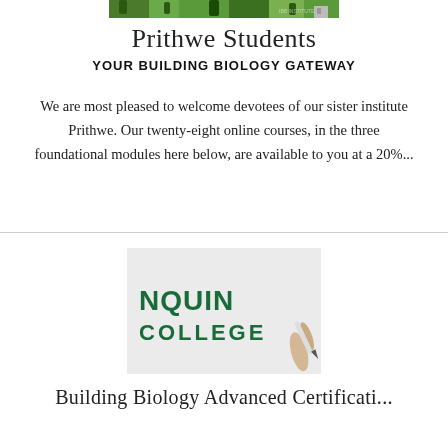[Figure (photo): A narrow strip of a green outdoor/campus photo at the top of the page]
Prithwe Students
YOUR BUILDING BIOLOGY GATEWAY
We are most pleased to welcome devotees of our sister institute Prithwe. Our twenty-eight online courses, in the three foundational modules here below, are available to you at a 20%...
[Figure (logo): Algonquin College logo showing 'NQUIN COLLEGE' text in dark green on a light grey background, with a partial hand holding something in the bottom right corner]
Building Biology Advanced Certificati...